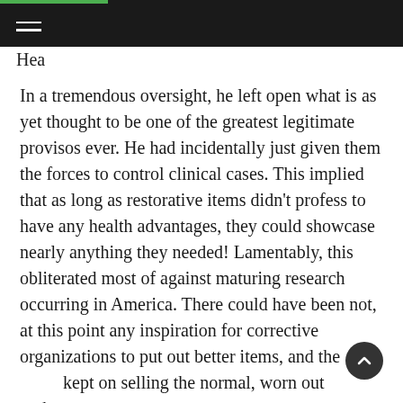Hea
In a tremendous oversight, he left open what is as yet thought to be one of the greatest legitimate provisos ever. He had incidentally just given them the forces to control clinical cases. This implied that as long as restorative items didn't profess to have any health advantages, they could showcase nearly anything they needed! Lamentably, this obliterated most of against maturing research occurring in America. There could have been not, at this point any inspiration for corrective organizations to put out better items, and they kept on selling the normal, worn out garbage at a